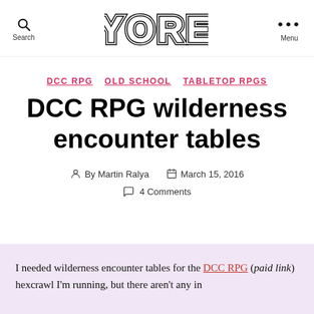Search  YORE  Menu
DCC RPG  OLD SCHOOL  TABLETOP RPGS
DCC RPG wilderness encounter tables
By Martin Ralya  March 15, 2016  4 Comments
I needed wilderness encounter tables for the DCC RPG (paid link) hexcrawl I'm running, but there aren't any in